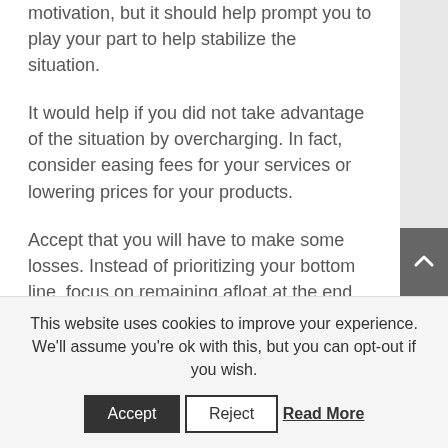motivation, but it should help prompt you to play your part to help stabilize the situation.
It would help if you did not take advantage of the situation by overcharging. In fact, consider easing fees for your services or lowering prices for your products.
Accept that you will have to make some losses. Instead of prioritizing your bottom line, focus on remaining afloat at the end of this ordeal.
You can also help the community around your company. Many companies are out there assisting the front-line healthcare workers with such donations as surgical masks, gowns, sanitizers, etc.
This website uses cookies to improve your experience. We'll assume you're ok with this, but you can opt-out if you wish.
Accept  Reject  Read More